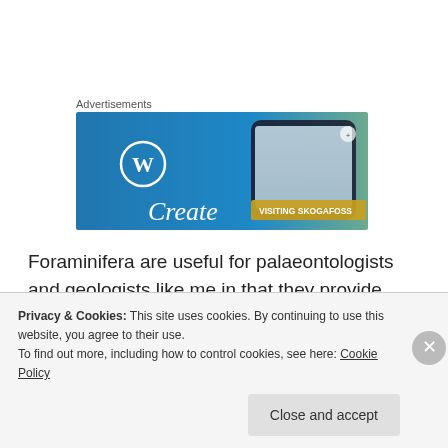Advertisements
[Figure (screenshot): WordPress advertisement banner showing WordPress logo on blue gradient background with a phone displaying a waterfall photo captioned 'VISITING SKOGAFOSS' and text 'Create']
Foraminifera are useful for palaeontologists and geologists like me in that they provide environmental information about the rocks in which they are contained were deposited. They are also key index fossils in helping
Privacy & Cookies: This site uses cookies. By continuing to use this website, you agree to their use.
To find out more, including how to control cookies, see here: Cookie Policy
Close and accept